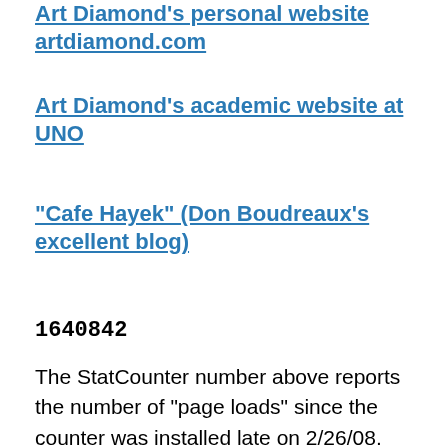Art Diamond's personal website artdiamond.com
Art Diamond's academic website at UNO
"Cafe Hayek" (Don Boudreaux's excellent blog)
1640842
The StatCounter number above reports the number of "page loads" since the counter was installed late on 2/26/08. Page loads are